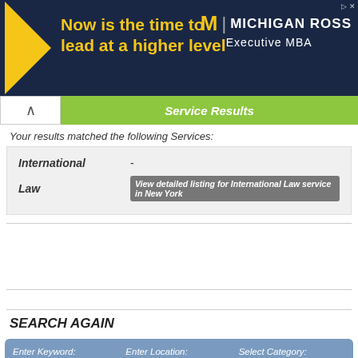[Figure (screenshot): Michigan Ross Executive MBA advertisement banner with yellow triangle logo, headline 'Now is the time to lead at a higher level', and Michigan Ross branding on dark navy background.]
Service Results
Your results matched the following Services:
| International | - |
| Law | View detailed listing for International Law service in New York |
SEARCH AGAIN
Enter Keyword: Internat of c | Enter Location: New York | Select Category: All